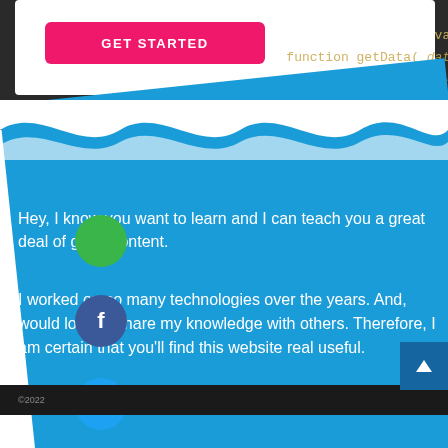[Figure (screenshot): Website screenshot showing a GET STARTED button on white card over dark code background, with a blue diagonal section containing social sharing icons (green, Facebook, Twitter) and descriptive text about teaching technologies]
Hey, I know you want to learn and I can teach you a great deal of great content.
I worked on so many technologies over the years. And, would love to share my knowledge with others. Therefore, I am certain that you'll find this website real useful.